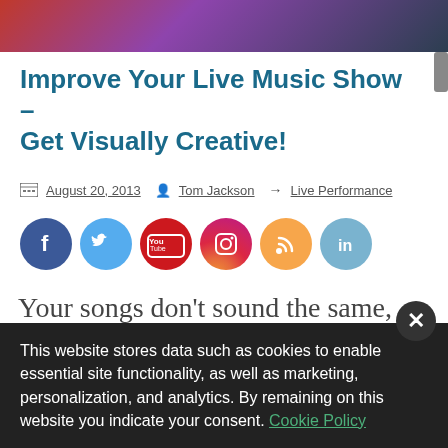[Figure (photo): Hero image showing a live music performance with colorful stage lighting]
Improve Your Live Music Show – Get Visually Creative!
August 20, 2013  Tom Jackson  → Live Performance
[Figure (infographic): Social media icons: Facebook, Twitter, YouTube, Instagram, RSS, LinkedIn]
Your songs don't sound the same, they shouldn't look the same when you perform your live music show
This website stores data such as cookies to enable essential site functionality, as well as marketing, personalization, and analytics. By remaining on this website you indicate your consent. Cookie Policy